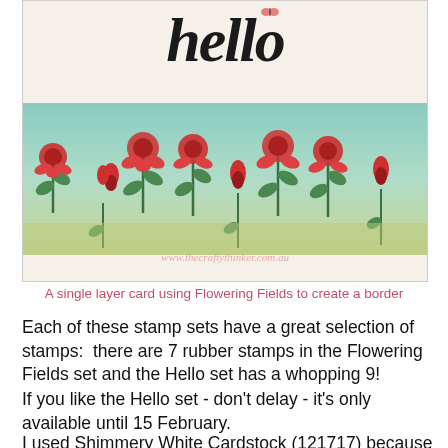[Figure (photo): A handmade greeting card with 'hello' written in large cursive script at the top on a cream background, and a horizontal border strip of red/pink flowering plants with green stems and leaves on a teal/mint background. Watermark text 'www.thecraftythinker.com.au' visible at the bottom of the card.]
A single layer card using Flowering Fields to create a border
Each of these stamp sets have a great selection of stamps:  there are 7 rubber stamps in the Flowering Fields set and the Hello set has a whopping 9!
If you like the Hello set - don't delay - it's only available until 15 February.
I used Shimmery White Cardstock (121717) because for a single layer card I like its weight and it's nice and easy to